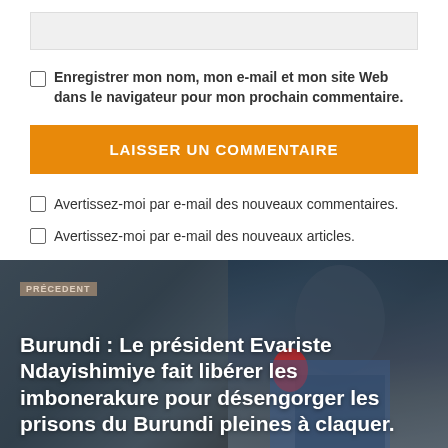(input field — website URL)
Enregistrer mon nom, mon e-mail et mon site Web dans le navigateur pour mon prochain commentaire.
LAISSER UN COMMENTAIRE
Avertissez-moi par e-mail des nouveaux commentaires.
Avertissez-moi par e-mail des nouveaux articles.
[Figure (photo): News article card with photo of a person in a blue suit speaking into a red microphone, with overlaid text reading 'PRÉCEDENT' and the article title about Burundi president Evariste Ndayishimiye releasing imbonerakure prisoners.]
Burundi : Le président Evariste Ndayishimiye fait libérer les imbonerakure pour désengorger les prisons du Burundi pleines à claquer.